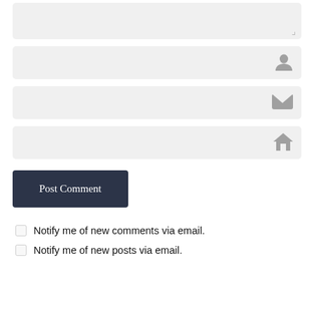[Figure (screenshot): Comment form textarea (top, partially visible, with resize handle)]
[Figure (screenshot): Name input field with user/person icon on the right]
[Figure (screenshot): Email input field with envelope icon on the right]
[Figure (screenshot): Website/URL input field with house icon on the right]
Post Comment
Notify me of new comments via email.
Notify me of new posts via email.